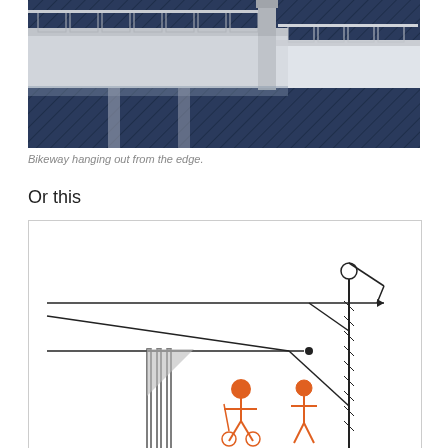[Figure (illustration): 3D rendering of a bridge structure with a bikeway hanging out from the edge over water. The structure shows white railings/barriers and a dark blue water surface below.]
Bikeway hanging out from the edge.
Or this
[Figure (engineering-diagram): Engineering schematic cross-section diagram showing a cantilevered structure with a tall vertical support column, diagonal cable/strut supports, and two orange human figures (a cyclist and a pedestrian) shown at ground level beneath the overhanging structure. Lines depict the structural elements including a long horizontal cantilever arm and a triangulated support system.]